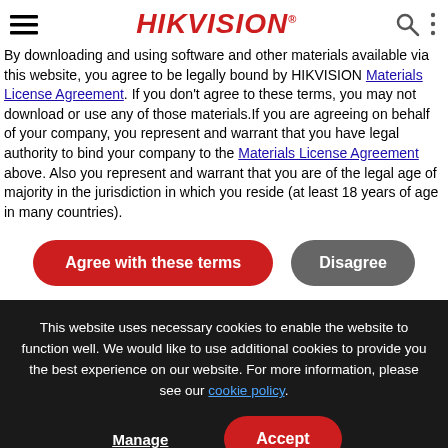HIKVISION
By downloading and using software and other materials available via this website, you agree to be legally bound by HIKVISION Materials License Agreement. If you don't agree to these terms, you may not download or use any of those materials.If you are agreeing on behalf of your company, you represent and warrant that you have legal authority to bind your company to the Materials License Agreement above. Also you represent and warrant that you are of the legal age of majority in the jurisdiction in which you reside (at least 18 years of age in many countries).
Agree with these terms | Disagree
This website uses necessary cookies to enable the website to function well. We would like to use additional cookies to provide you the best experience on our website. For more information, please see our cookie policy.
Manage | Accept